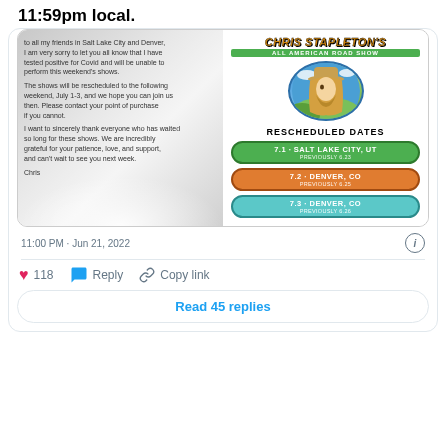11:59pm local.
[Figure (screenshot): Two-panel image: left shows a grey-toned letter from Chris Stapleton about testing positive for Covid and rescheduling Salt Lake City and Denver shows. Right shows a colorful Chris Stapleton's All American Road Show poster with rescheduled dates: 7.1 Salt Lake City UT (previously 6.23), 7.2 Denver CO (previously 6.25), 7.3 Denver CO (previously 6.26).]
11:00 PM · Jun 21, 2022
118
Reply
Copy link
Read 45 replies